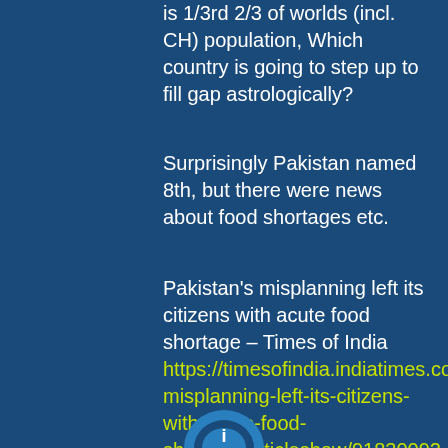is 1/3rd 2/3 of worlds (incl. CH) population, Which country is going to step up to fill gap astrologically?
Surprisingly Pakistan named 8th, but there were news about food shortages etc.
Pakistan's misplanning left its citizens with acute food shortage – Times of India https://timesofindia.indiatimes.com/world/pakistan/pakistans-misplanning-left-its-citizens-with-acute-food-shortage/articleshow/91830092.cms
[Figure (logo): Partial logo visible at bottom center of page, blue/teal circular icon]